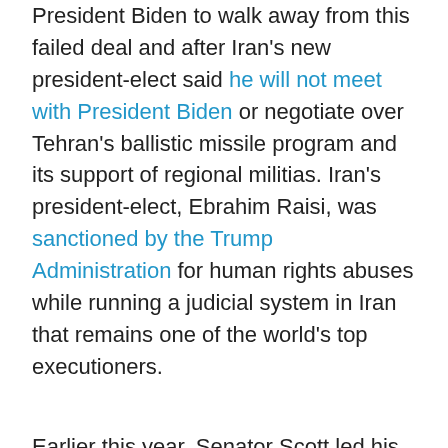President Biden to walk away from this failed deal and after Iran's new president-elect said he will not meet with President Biden or negotiate over Tehran's ballistic missile program and its support of regional militias. Iran's president-elect, Ebrahim Raisi, was sanctioned by the Trump Administration for human rights abuses while running a judicial system in Iran that remains one of the world's top executioners.
Earlier this year, Senator Scott led his colleagues in the Senate in a resolution expressing opposition to the Iran nuclear deal, or Joint Comprehensive Plan of Action, and urging President Biden to work with Congress and refuse to re-join the deal without significant reform.
Senator Rick Scott said "Democrats are in...